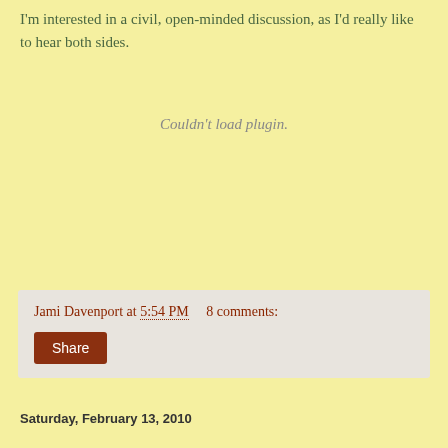I'm interested in a civil, open-minded discussion, as I'd really like to hear both sides.
[Figure (other): Couldn't load plugin.]
Jami Davenport at 5:54 PM   8 comments:
Share
Saturday, February 13, 2010
Riding Bareback and Other Smelly...